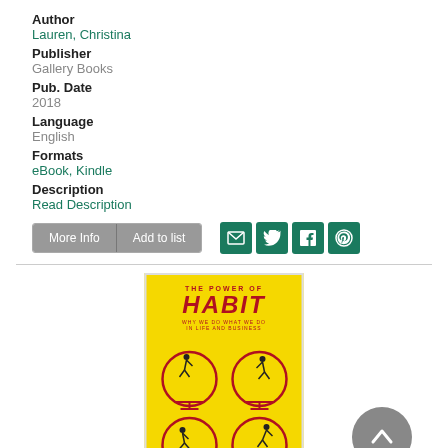Author
Lauren, Christina
Publisher
Gallery Books
Pub. Date
2018
Language
English
Formats
eBook, Kindle
Description
Read Description
[Figure (illustration): Book cover of 'The Power of Habit' by Charles Duhigg, yellow background with red text and figures running on hamster wheels]
[Figure (other): Scroll to top circular button with upward arrow icon]